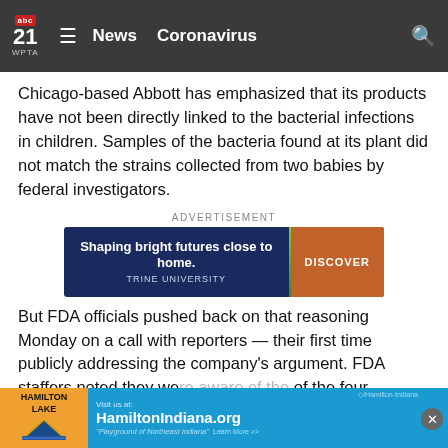abc21 WPTA  ≡  News  Coronavirus  🔍
Chicago-based Abbott has emphasized that its products have not been directly linked to the bacterial infections in children. Samples of the bacteria found at its plant did not match the strains collected from two babies by federal investigators.
ADVERTISEMENT
[Figure (other): Trine University advertisement banner: 'Shaping bright futures close to home. TRINE UNIVERSITY' with a DISCOVER button on dark blue background with green divider.]
But FDA officials pushed back on that reasoning Monday on a call with reporters — their first time publicly addressing the company's argument. FDA staffers noted they we... of the four pa... h.
[Figure (other): Hamilton Lake advertisement overlay banner: Hamilton Lake logo on orange background, with blue section showing 'Visit us at: HamiltonIndiana.org Playground of Northeast Indiana Learn More >>' with Facebook link and close button.]